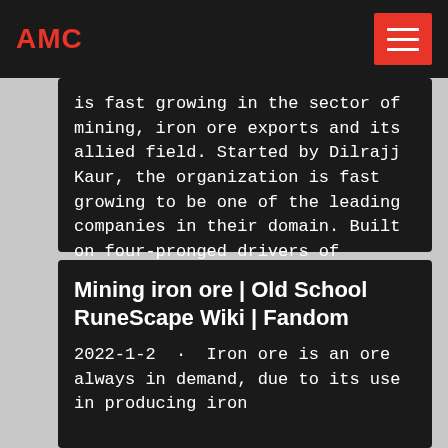AMC
is fast growing in the sector of mining, iron ore exports and its allied field. Started by Dilrajj Kaur, the organization is fast growing to be one of the leading companies in their domain. Built on four-pronged drivers of innovation, advancement, technology and R&R of talents JRD Mines promotes collaborative efforts and other initiatives.
Mining iron ore | Old School RuneScape Wiki | Fandom
2022-1-2 · Iron ore is an ore always in demand, due to its use in producing iron